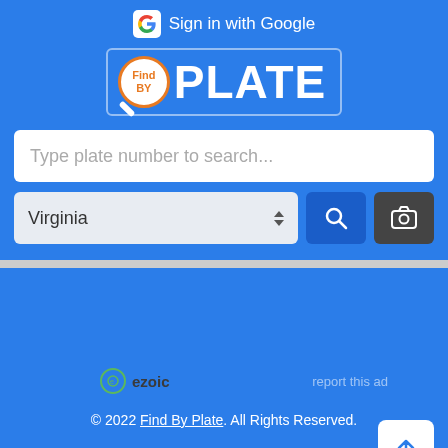[Figure (screenshot): FindByPlate website screenshot showing Google sign-in button, FindPlate logo, license plate search input, Virginia state dropdown, search button, camera button, ezoic ad badge, and copyright footer.]
Sign in with Google
FindPLATE
Type plate number to search...
Virginia
ezoic
report this ad
© 2022 Find By Plate. All Rights Reserved.